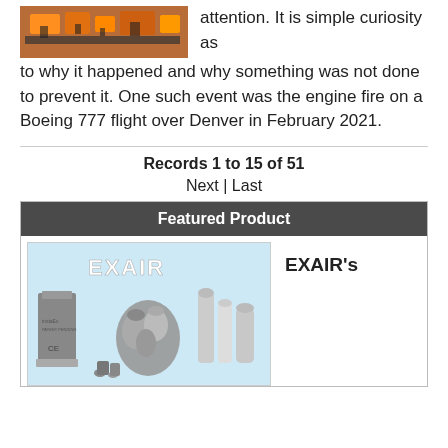[Figure (photo): Industrial orange and black engine/machinery equipment photo]
attention. It is simple curiosity as to why it happened and why something was not done to prevent it. One such event was the engine fire on a Boeing 777 flight over Denver in February 2021.
Records 1 to 15 of 51
Next | Last
Featured Product
[Figure (photo): EXAIR product lineup showing various air nozzles and blow-off products on light blue background with EXAIR logo]
EXAIR's